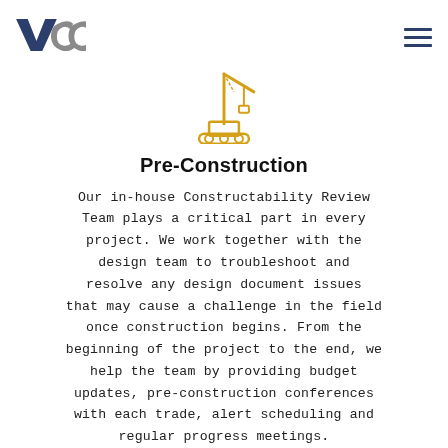VCC logo and navigation menu
[Figure (illustration): Yellow line-art icon of a construction crane/excavator]
Pre-Construction
Our in-house Constructability Review Team plays a critical part in every project. We work together with the design team to troubleshoot and resolve any design document issues that may cause a challenge in the field once construction begins. From the beginning of the project to the end, we help the team by providing budget updates, pre-construction conferences with each trade, alert scheduling and regular progress meetings.